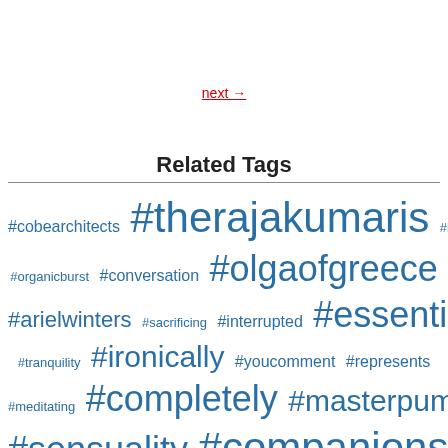next →
Related Tags
#cobearchitects #therajakumaris #brunothebike #organicburst #conversation #olgaofgreece #arielwinters #sacrificing #interrupted #essentially #tranquility #ironically #youcomment #represents #meditating #completely #masterpump #sensuality #companions #pronounced #worldwide #sometimes #catherine #featuring #additives #releasing #caribbean #clubsport #caradvice #astridkbh #creating #erupting #sunshine #unzipped #courtesy